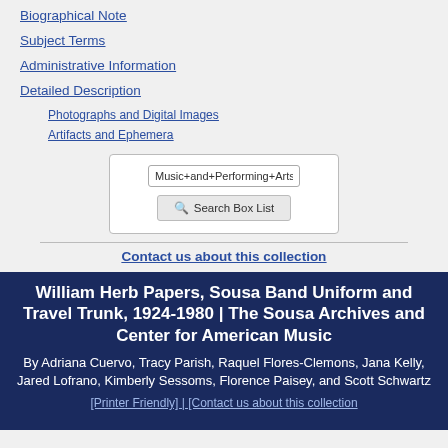Biographical Note
Subject Terms
Administrative Information
Detailed Description
Photographs and Digital Images
Artifacts and Ephemera
Music+and+Performing+Arts-
Search Box List
Contact us about this collection
William Herb Papers, Sousa Band Uniform and Travel Trunk, 1924-1980 | The Sousa Archives and Center for American Music
By Adriana Cuervo, Tracy Parish, Raquel Flores-Clemons, Jana Kelly, Jared Lofrano, Kimberly Sessoms, Florence Paisey, and Scott Schwartz
[Printer Friendly] | [Contact us about this collection